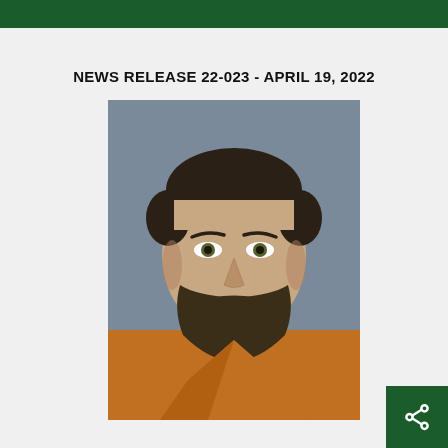NEWS RELEASE 22-023 - APRIL 19, 2022
[Figure (photo): Mugshot of a man with short dark hair, a beard, wearing an orange jumpsuit, photographed against a gray background.]